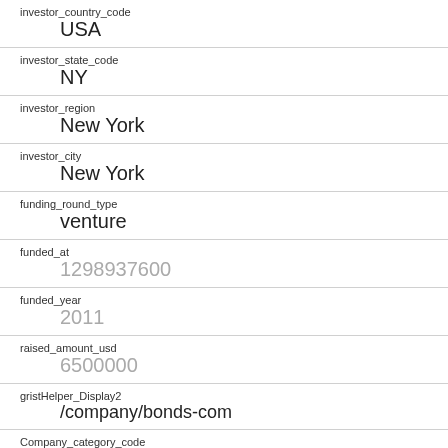investor_country_code
USA
investor_state_code
NY
investor_region
New York
investor_city
New York
funding_round_type
venture
funded_at
1298937600
funded_year
2011
raised_amount_usd
6500000
gristHelper_Display2
/company/bonds-com
Company_category_code
finance